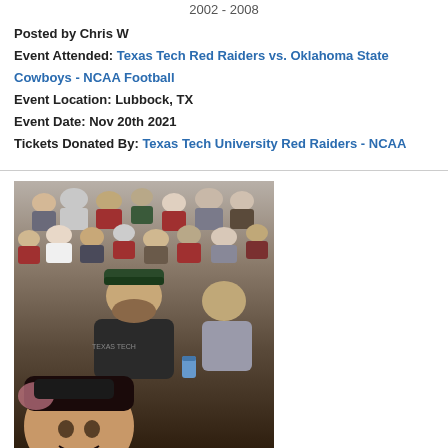2002 - 2008
Posted by Chris W
Event Attended: Texas Tech Red Raiders vs. Oklahoma State Cowboys - NCAA Football
Event Location: Lubbock, TX
Event Date: Nov 20th 2021
Tickets Donated By: Texas Tech University Red Raiders - NCAA
[Figure (photo): Selfie photo taken at a football stadium showing fans in the stands. In the foreground is a person taking the selfie, behind them a man wearing a Texas Tech shirt, and many other fans in the stadium seating area.]